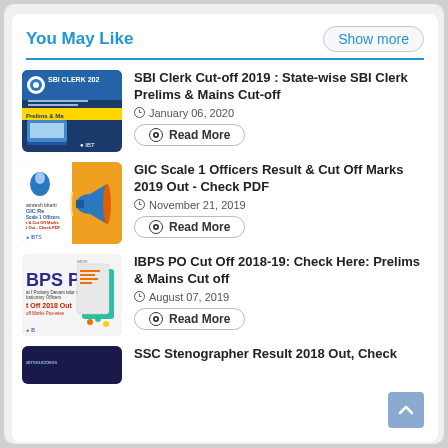You May Like
Show more
[Figure (screenshot): SBI CLERK 2020 thumbnail with cut-off marks state-wise prelims and mains info, IBTS logo]
SBI Clerk Cut-off 2019 : State-wise SBI Clerk Prelims & Mains Cut-off
January 06, 2020
Read More
[Figure (screenshot): GIC Re Scale 1 Officers result and cut off marks PDF thumbnail with megaphone, IBTS logo]
GIC Scale 1 Officers Result & Cut Off Marks 2019 Out - Check PDF
November 21, 2019
Read More
[Figure (screenshot): IBPS PO Cut Off 2018-19 thumbnail with probationary officers info, IBTS logo]
IBPS PO Cut Off 2018-19: Check Here: Prelims & Mains Cut off
August 07, 2019
Read More
[Figure (screenshot): aimsuccess SSC Stenographer Result 2018 thumbnail]
SSC Stenographer Result 2018 Out, Check